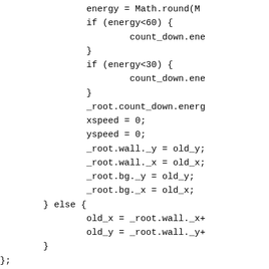energy = Math.round(M
                if (energy<60) {
                        count_down.ene
                }
                if (energy<30) {
                        count_down.ene
                }
                _root.count_down.energ
                xspeed = 0;
                yspeed = 0;
                _root.wall._y = old_y;
                _root.wall._x = old_x;
                _root.bg._y = old_y;
                _root.bg._x = old_x;
        } else {
                old_x = _root.wall._x+
                old_y = _root.wall._y+
        }
};
function time_to_string(time_to_conver